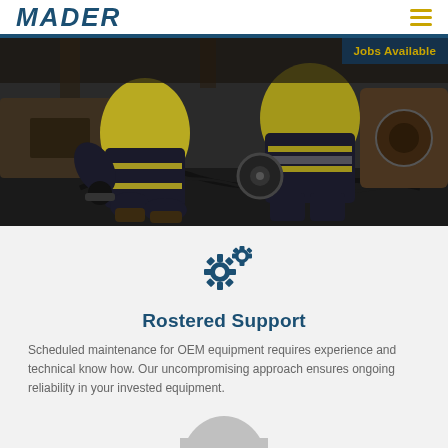MADER
[Figure (photo): Two workers in high-visibility yellow gear lying under heavy machinery performing maintenance, hands working on equipment components]
Jobs Available
[Figure (illustration): Two interlocking gear/cog icons in dark blue, representing mechanical support]
Rostered Support
Scheduled maintenance for OEM equipment requires experience and technical know how. Our uncompromising approach ensures ongoing reliability in your invested equipment.
[Figure (illustration): Return to top button - grey semicircle with 'RETURN TO' in small text above 'TOP' in large letters]